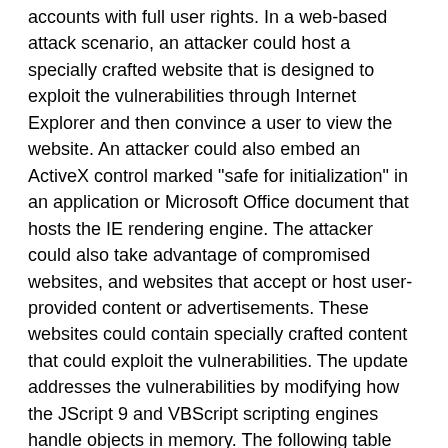accounts with full user rights. In a web-based attack scenario, an attacker could host a specially crafted website that is designed to exploit the vulnerabilities through Internet Explorer and then convince a user to view the website. An attacker could also embed an ActiveX control marked "safe for initialization" in an application or Microsoft Office document that hosts the IE rendering engine. The attacker could also take advantage of compromised websites, and websites that accept or host user-provided content or advertisements. These websites could contain specially crafted content that could exploit the vulnerabilities. The update addresses the vulnerabilities by modifying how the JScript 9 and VBScript scripting engines handle objects in memory. The following table contains links to the standard entry for each vulnerability in the Common Vulnerabilities and Exposures list:
| Vulnerability | CVE number | Publicly | Exploited |
| --- | --- | --- | --- |